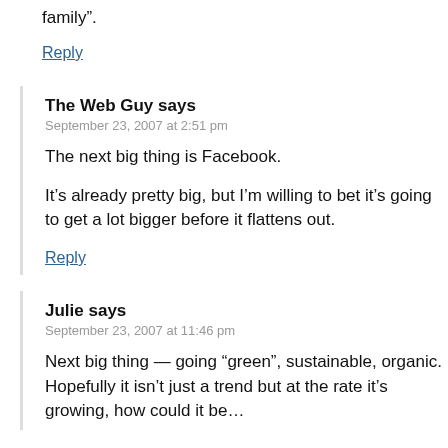family”.
Reply
The Web Guy says
September 23, 2007 at 2:51 pm
The next big thing is Facebook.
It’s already pretty big, but I’m willing to bet it’s going to get a lot bigger before it flattens out.
Reply
Julie says
September 23, 2007 at 11:46 pm
Next big thing — going “green”, sustainable, organic. Hopefully it isn’t just a trend but at the rate it’s growing, how could it be…